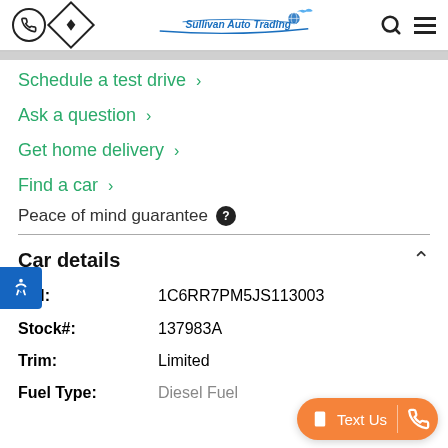Sullivan Auto Trading
Schedule a test drive
Ask a question
Get home delivery
Find a car
Peace of mind guarantee
Car details
| Field | Value |
| --- | --- |
| VIN: | 1C6RR7PM5JS113003 |
| Stock#: | 137983A |
| Trim: | Limited |
| Fuel Type: | Diesel Fuel |